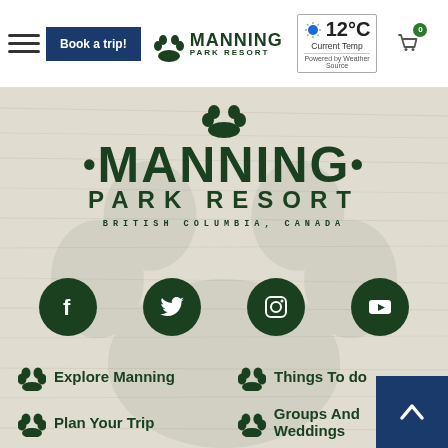[Figure (screenshot): Manning Park Resort website header navigation bar with hamburger menu, Book a trip button, Manning Park Resort logo, weather widget showing 12°C Current Temp Powered by Weather Source, and shopping cart icon]
[Figure (logo): Manning Park Resort logo with bear paw icon and text MANNING PARK RESORT BRITISH COLUMBIA, CANADA on a wood-grain background]
[Figure (infographic): Social media icons row: Facebook, Twitter, Instagram, YouTube - all dark green circles]
Explore Manning
Things To do
Plan Your Trip
Groups And Weddings